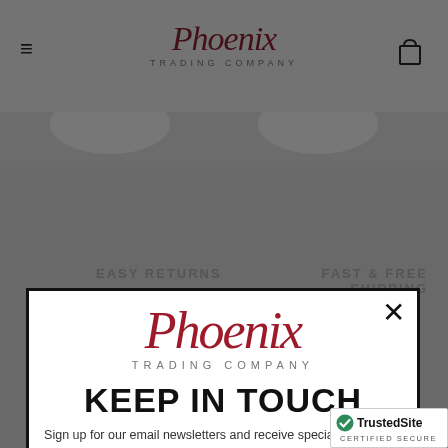[Figure (screenshot): Phoenix Trading Company website header with hamburger menu icon on left, logo in center, and shopping cart icon on right, on a gray background]
EASY RETURNS
FAST & FREE SHIPPING
[Figure (screenshot): Modal popup with Phoenix Trading Company logo, KEEP IN TOUCH heading, email newsletter signup text, email input field, and TrustedSite Certified Secure badge]
KEEP IN TOUCH
Sign up for our email newsletters and receive special promotions and other deals.
Your email address please